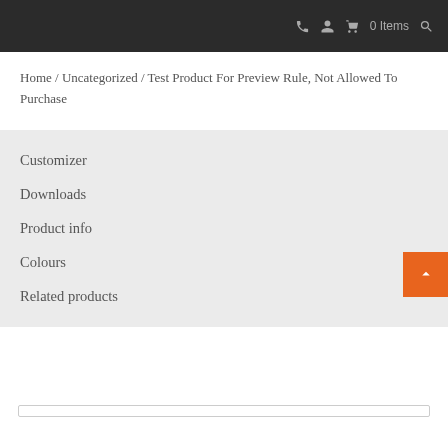0 Items
Home / Uncategorized / Test Product For Preview Rule, Not Allowed To Purchase
Customizer
Downloads
Product info
Colours
Related products